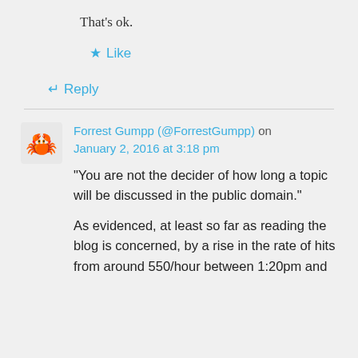That's ok.
★ Like
↵ Reply
Forrest Gumpp (@ForrestGumpp) on January 2, 2016 at 3:18 pm
“You are not the decider of how long a topic will be discussed in the public domain.”
As evidenced, at least so far as reading the blog is concerned, by a rise in the rate of hits from around 550/hour between 1:20pm and